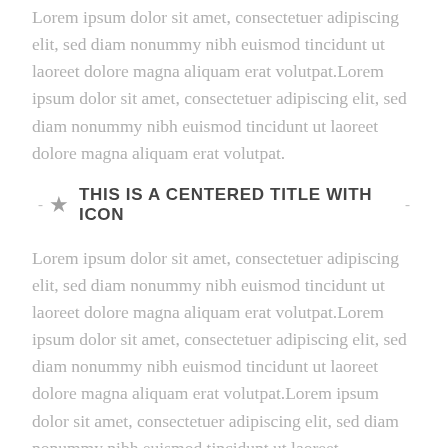Lorem ipsum dolor sit amet, consectetuer adipiscing elit, sed diam nonummy nibh euismod tincidunt ut laoreet dolore magna aliquam erat volutpat.Lorem ipsum dolor sit amet, consectetuer adipiscing elit, sed diam nonummy nibh euismod tincidunt ut laoreet dolore magna aliquam erat volutpat.
THIS IS A CENTERED TITLE WITH ICON
Lorem ipsum dolor sit amet, consectetuer adipiscing elit, sed diam nonummy nibh euismod tincidunt ut laoreet dolore magna aliquam erat volutpat.Lorem ipsum dolor sit amet, consectetuer adipiscing elit, sed diam nonummy nibh euismod tincidunt ut laoreet